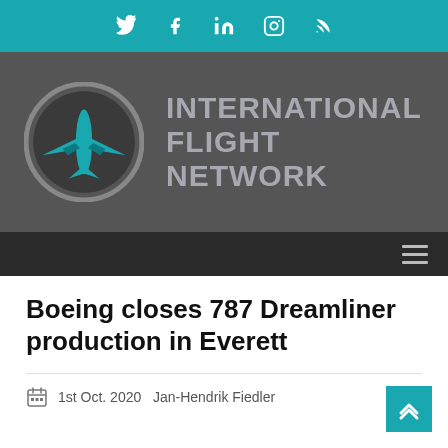Social media icons: Twitter, Facebook, LinkedIn, Instagram, RSS
[Figure (logo): International Flight Network logo: teal airplane icon in a circular badge with gray border, beside bold gray text reading INTERNATIONAL FLIGHT NETWORK]
Navigation bar with hamburger menu icon
Boeing closes 787 Dreamliner production in Everett
1st Oct. 2020   Jan-Hendrik Fiedler